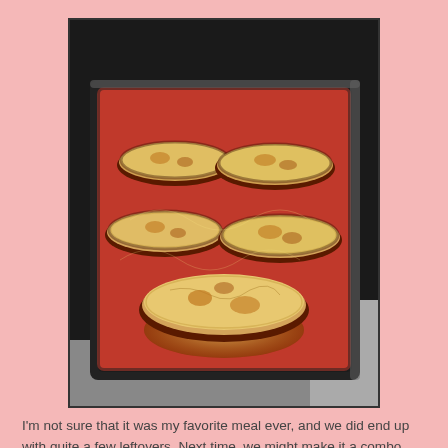[Figure (photo): A baking dish containing eggplant parmesan — slices of eggplant covered with tomato sauce and melted, browned cheese, photographed from above at an angle in what appears to be a kitchen.]
I'm not sure that it was my favorite meal ever, and we did end up with quite a few leftovers. Next time, we might make it a combo meal of eggplant and chicken parmesean together. But it's not off the table to make again, since